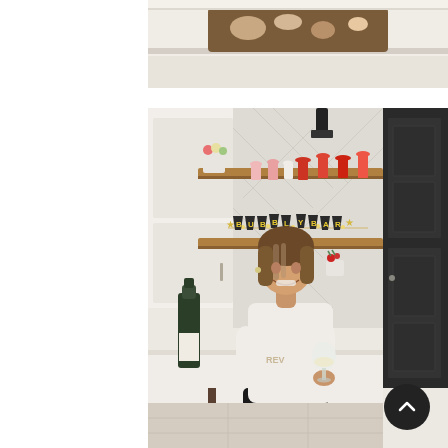[Figure (photo): Partial view of a kitchen counter with a wooden charcuterie/serving board with food items on a white marble countertop, cropped at top of page.]
[Figure (photo): A smiling woman with brown hair wearing a white sweatshirt and black skirt sits on a stool at a white kitchen counter, holding a wine glass. She is in front of open shelves decorated with red and pink tassel garland and a 'BUBBLY BAR' banner with star accents. A dark wine bottle with a white label sits on the counter to her left. The kitchen has white cabinets, herringbone tile backsplash, and a dark door to the right.]